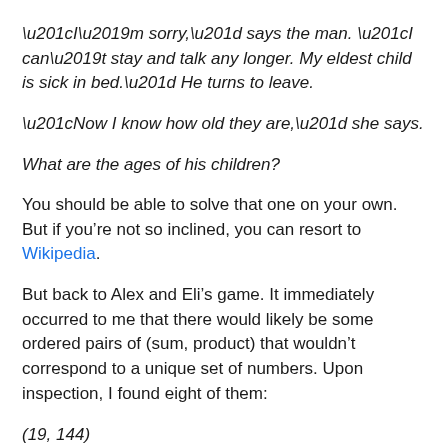“I’m sorry,” says the man. “I can’t stay and talk any longer. My eldest child is sick in bed.” He turns to leave.
“Now I know how old they are,” she says.
What are the ages of his children?
You should be able to solve that one on your own. But if you’re not so inclined, you can resort to Wikipedia.
But back to Alex and Eli’s game. It immediately occurred to me that there would likely be some ordered pairs of (sum, product) that wouldn’t correspond to a unique set of numbers. Upon inspection, I found eight of them:
(19, 144)
(20, 90)
(21, 168)